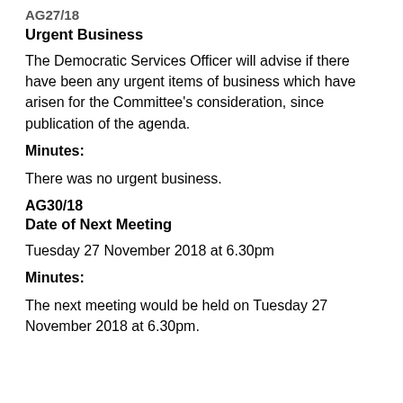AG27/18
Urgent Business
The Democratic Services Officer will advise if there have been any urgent items of business which have arisen for the Committee's consideration, since publication of the agenda.
Minutes:
There was no urgent business.
AG30/18
Date of Next Meeting
Tuesday 27 November 2018 at 6.30pm
Minutes:
The next meeting would be held on Tuesday 27 November 2018 at 6.30pm.